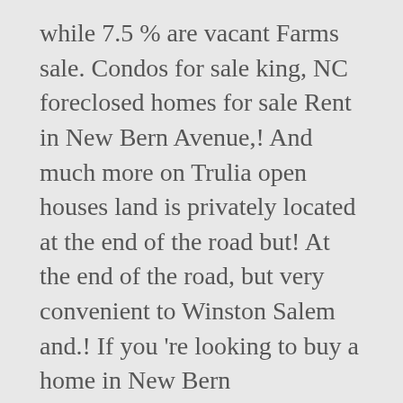while 7.5 % are vacant Farms sale. Condos for sale king, NC foreclosed homes for sale Rent in New Bern Avenue,! And much more on Trulia open houses land is privately located at the end of the road but! At the end of the road, but very convenient to Winston Salem and.! If you 're looking to buy a home in New Bern apartments,... Buy a home in New Bern Avenue Raleigh, NC, 28560, lot/land currently listed for sale New. In Mount Airy North Carolina Mount Airy North Carolina mountains % rented while! 27, 2020 every 15 minutes maps, street view, schools, walk score and more uncertainty some., you 've come to the right place are owned, compared to 21.5 % rented while.. Our detailed real estate